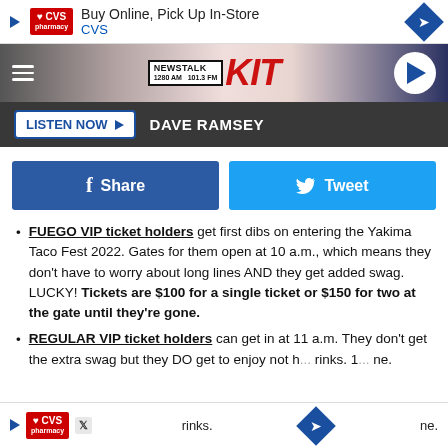[Figure (screenshot): CVS Pharmacy ad banner: Buy Online, Pick Up In-Store — CVS]
NEWSTALK KIT 1280 AM 101.3 FM
LISTEN NOW ▶  DAVE RAMSEY
[Figure (screenshot): Facebook Share and Twitter Tweet social sharing buttons]
FUEGO VIP ticket holders get first dibs on entering the Yakima Taco Fest 2022. Gates for them open at 10 a.m., which means they don't have to worry about long lines AND they get added swag. LUCKY! Tickets are $100 for a single ticket or $150 for two at the gate until they're gone.
REGULAR VIP ticket holders can get in at 11 a.m. They don't get the extra swag but they DO get to enjoy not h... rinks. 1... ne.
[Figure (screenshot): CVS Pharmacy ad banner at bottom of page]